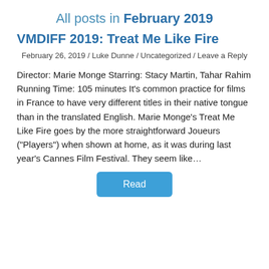All posts in February 2019
VMDIFF 2019: Treat Me Like Fire
February 26, 2019 / Luke Dunne / Uncategorized / Leave a Reply
Director: Marie Monge Starring: Stacy Martin, Tahar Rahim Running Time: 105 minutes It’s common practice for films in France to have very different titles in their native tongue than in the translated English. Marie Monge’s Treat Me Like Fire goes by the more straightforward Joueurs (“Players”) when shown at home, as it was during last year’s Cannes Film Festival. They seem like…
Read